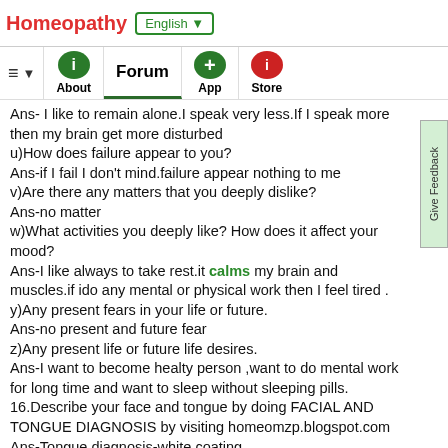Homeopathy | English ▼ | About | Forum | App | Store
Ans- I like to remain alone.I speak very less.If I speak more then my brain get more disturbed
u)How does failure appear to you?
Ans-if I fail I don't mind.failure appear nothing to me
v)Are there any matters that you deeply dislike?
Ans-no matter
w)What activities you deeply like? How does it affect your mood?
Ans-I like always to take rest.it calms my brain and muscles.if ido any mental or physical work then I feel tired .
y)Any present fears in your life or future.
Ans-no present and future fear
z)Any present life or future life desires.
Ans-I want to become healty person ,want to do mental work for long time and want to sleep without sleeping pills.
16.Describe your face and tongue by doing FACIAL AND TONGUE DIAGNOSIS by visiting homeomzp.blogspot.com
Ans-Tongue diagnosis-white coating
Facial –white pimples